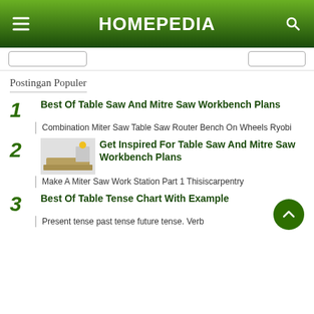HOMEPEDIA
Postingan Populer
Best Of Table Saw And Mitre Saw Workbench Plans
Combination Miter Saw Table Saw Router Bench On Wheels Ryobi
Get Inspired For Table Saw And Mitre Saw Workbench Plans
Make A Miter Saw Work Station Part 1 Thisiscarpentry
Best Of Table Tense Chart With Example
Present tense past tense future tense. Verb